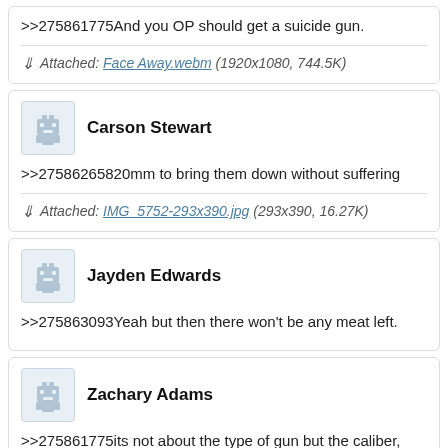>>275861775And you OP should get a suicide gun.
Attached: Face Away.webm (1920x1080, 744.5K)
Carson Stewart
>>27586265820mm to bring them down without suffering
Attached: IMG_5752-293x390.jpg (293x390, 16.27K)
Jayden Edwards
>>275863093Yeah but then there won't be any meat left.
Zachary Adams
>>275861775its not about the type of gun but the caliber, and the ar15 is a good varmint gun.